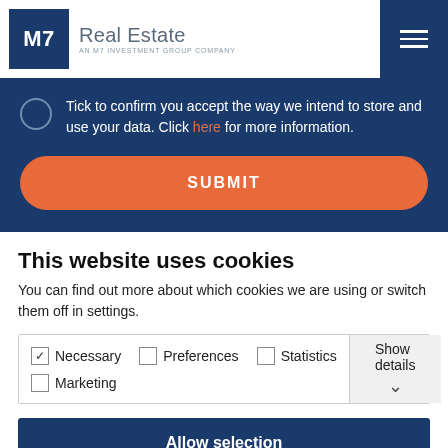[Figure (logo): M7 Real Estate logo - dark blue square with M7 text, followed by 'Real Estate' and 'AN M7 INVESTMENT GROUP COMPANY' subtitle]
Tick to confirm you accept the way we intend to store and use your data. Click here for more information.
SUBMIT
This website uses cookies
You can find out more about which cookies we are using or switch them off in settings.
Necessary  Preferences  Statistics  Marketing  Show details
Allow selection
Allow all cookies